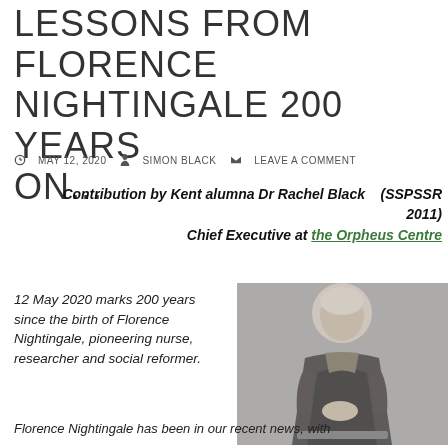LESSONS FROM FLORENCE NIGHTINGALE 200 YEARS ON...
MAY 12, 2020   SIMON BLACK   LEAVE A COMMENT
Contribution by Kent alumna Dr Rachel Black   (SSPSSR 2011)
Chief Executive at the Orpheus Centre
12 May 2020 marks 200 years since the birth of Florence Nightingale, pioneering nurse, researcher and social reformer.
[Figure (photo): Black and white portrait photograph of Florence Nightingale in Victorian-era dark dress]
Florence Nightingale has been in our recent news, with